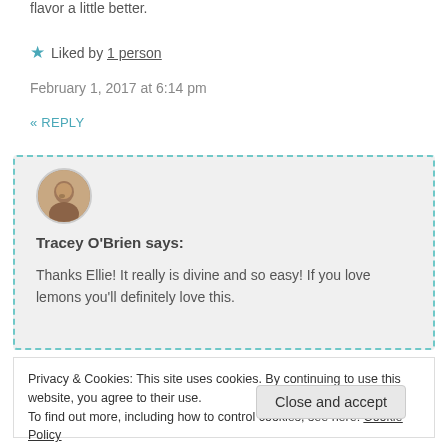flavor a little better.
★ Liked by 1 person
February 1, 2017 at 6:14 pm
« REPLY
[Figure (photo): Circular avatar photo of a person]
Tracey O'Brien says:
Thanks Ellie! It really is divine and so easy! If you love lemons you'll definitely love this.
Privacy & Cookies: This site uses cookies. By continuing to use this website, you agree to their use.
To find out more, including how to control cookies, see here: Cookie Policy
Close and accept